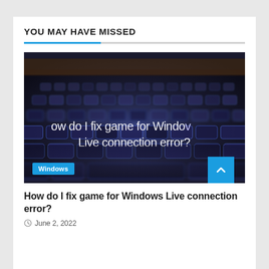YOU MAY HAVE MISSED
[Figure (photo): Close-up photograph of a dark keyboard with blue-tinted keys in bokeh, overlaid with white text reading 'how do I fix game for Windows Live connection error?' with a blue 'Windows' category badge in the bottom left corner]
How do I fix game for Windows Live connection error?
June 2, 2022